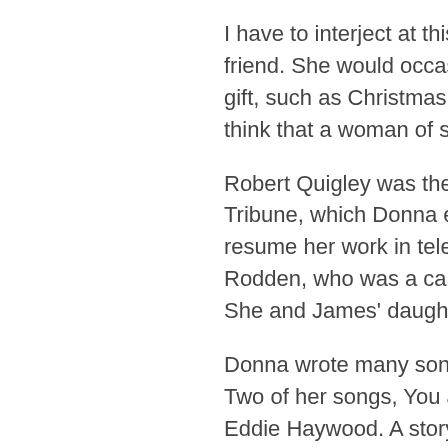I have to interject at this p friend. She would occasio gift, such as Christmas ph think that a woman of suc
Robert Quigley was the o Tribune, which Donna ed resume her work in televi Rodden, who was a cab d She and James' daughte
Donna wrote many songs Two of her songs, You ar Eddie Haywood. A story s acclaim and Roberta is he